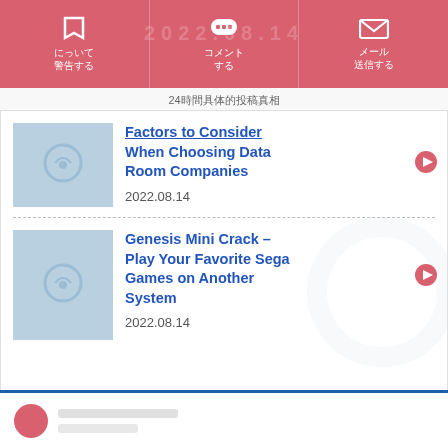Navigation bar with three icons: bookmark, chat bubbles, envelope. Labels in non-Latin script.
24（non-Latin characters）
Factors to Consider When Choosing Data Room Companies
2022.08.14
Genesis Mini Crack – Play Your Favorite Sega Games on Another System
2022.08.14
[Figure (other): Bottom section with blue top border, circular avatar icon and placeholder text blocks]